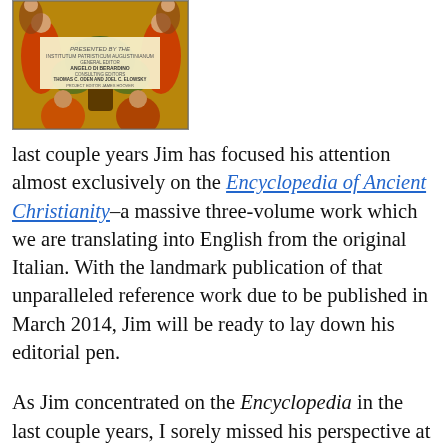[Figure (photo): Book cover image of the Encyclopedia of Ancient Christianity, showing a Byzantine mosaic/icon style illustration with figures around a tree, published by the Institutum Patristicum Augustinianum, General Editor Angelo Di Berardino, Consulting Editors Thomas C. Oden and Joel C. Elowsky, Project Editor James Hoover.]
last couple years Jim has focused his attention almost exclusively on the Encyclopedia of Ancient Christianity–a massive three-volume work which we are translating into English from the original Italian. With the landmark publication of that unparalleled reference work due to be published in March 2014, Jim will be ready to lay down his editorial pen.
As Jim concentrated on the Encyclopedia in the last couple years, I sorely missed his perspective at publishing meetings and in